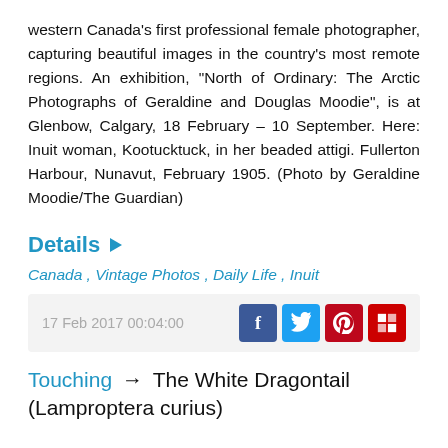western Canada's first professional female photographer, capturing beautiful images in the country's most remote regions. An exhibition, "North of Ordinary: The Arctic Photographs of Geraldine and Douglas Moodie", is at Glenbow, Calgary, 18 February – 10 September. Here: Inuit woman, Kootucktuck, in her beaded attigi. Fullerton Harbour, Nunavut, February 1905. (Photo by Geraldine Moodie/The Guardian)
Details ▶
Canada , Vintage Photos , Daily Life , Inuit
17 Feb 2017 00:04:00
Touching → The White Dragontail (Lamproptera curius)